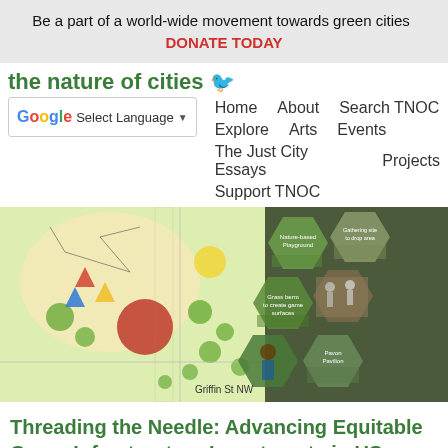Be a part of a world-wide movement towards green cities  DONATE TODAY
the nature of cities
Select Language
Home
About
Search TNOC
Explore
Arts
Events
The Just City Essays
Projects
Support TNOC
[Figure (photo): A park planning map showing green infrastructure layout with trees, paths, and play areas. Overlaid with hexagonal photo collages showing playground, people, and park features. Caption: Griffin St NW]
Griffin St NW
Threading the Needle: Advancing Equitable Green Infrastructure Investments in US Cities